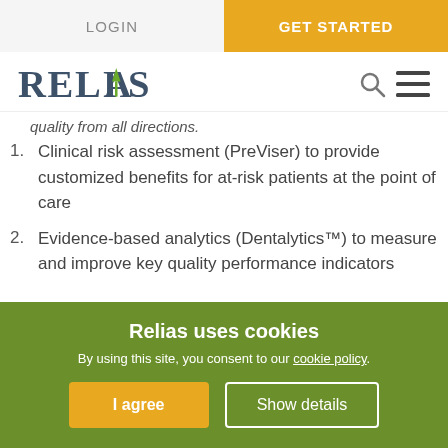LOGIN  GET STARTED
[Figure (logo): Relias logo with green arrow in the A, dark slate text, search icon and hamburger menu icon]
quality from all directions.
Clinical risk assessment (PreViser) to provide customized benefits for at-risk patients at the point of care
Evidence-based analytics (Dentalytics™) to measure and improve key quality performance indicators
Relias uses cookies
By using this site, you consent to our cookie policy.
I agree   Show details